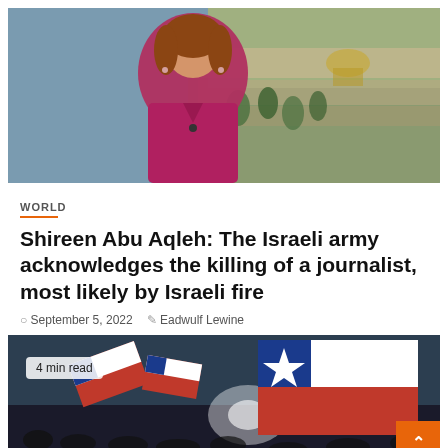[Figure (photo): Woman in magenta blouse with Jerusalem cityscape in background]
WORLD
Shireen Abu Aqleh: The Israeli army acknowledges the killing of a journalist, most likely by Israeli fire
September 5, 2022   Eadwulf Lewine
[Figure (photo): Crowd waving Chilean flags at a rally, with '4 min read' badge]